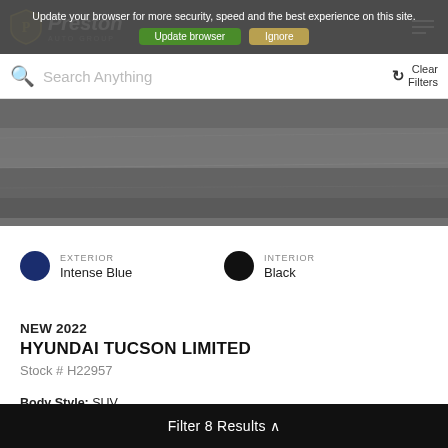Preston Auto Group
Update your browser for more security, speed and the best experience on this site.
Search Anything
Clear Filters
[Figure (photo): Car image background - grey textured surface]
EXTERIOR
Intense Blue
INTERIOR
Black
NEW 2022
HYUNDAI TUCSON LIMITED
Stock # H22957
Body Style: SUV
Engine: 2.5L I4 DGI DOHC 16V LEV3-ULEV70 187hp
Transmission: 8-Speed Automatic ...
Filter 8 Results ^